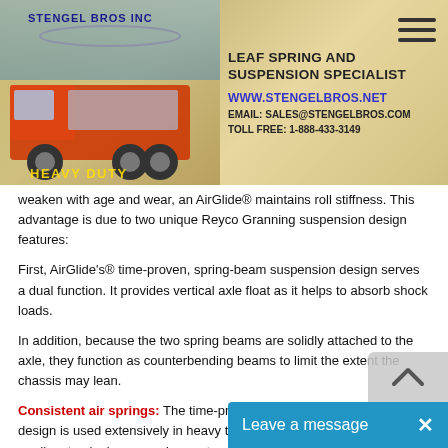STENGEL BROS INC — LEAF SPRING AND SUSPENSION SPECIALIST — WWW.STENGELBROS.NET — EMAIL: SALES@STENGELBROS.COM — TOLL FREE: 1-888-433-3149
weaken with age and wear, an AirGlide® maintains roll stiffness. This advantage is due to two unique Reyco Granning suspension design features:
First, AirGlide's® time-proven, spring-beam suspension design serves a dual function. It provides vertical axle float as it helps to absorb shock loads.
In addition, because the two spring beams are solidly attached to the axle, they function as counterbending beams to limit the extent the chassis may lean.
Consistent air springs: The time-prove, step-down, spring-beam design is used extensively in heavy truck suspensions. For light and medium truck air suspension systems, it facilitates the use of the original mechanical suspension mounting points. The front spring hanger is used to attach the front end of the AirGlide's...